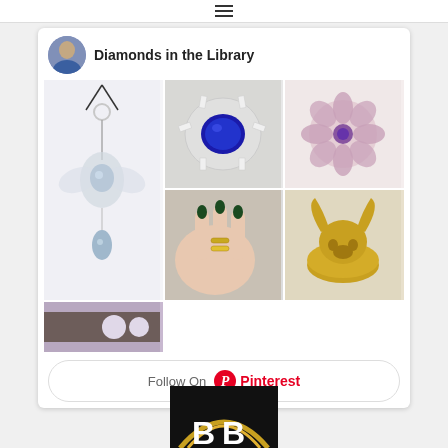☰
Diamonds in the Library
[Figure (photo): Pinterest widget showing a grid of jewelry photos including rings with gemstones, a gold bull ring, and accessories]
Follow On Pinterest
[Figure (logo): Partial dark logo at bottom of page with white letter B shapes on black background with orange/yellow arc]